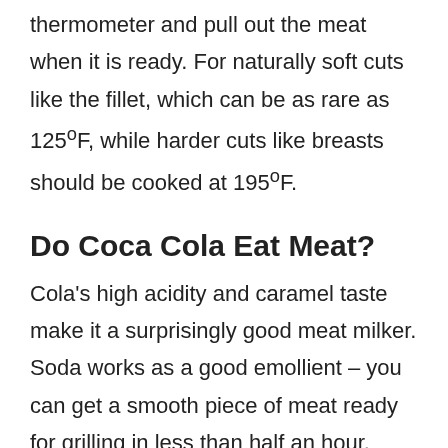thermometer and pull out the meat when it is ready. For naturally soft cuts like the fillet, which can be as rare as 125ºF, while harder cuts like breasts should be cooked at 195ºF.
Do Coca Cola Eat Meat?
Cola's high acidity and caramel taste make it a surprisingly good meat milker. Soda works as a good emollient – you can get a smooth piece of meat ready for grilling in less than half an hour. Softening the glue for 24 hours makes a meat dish that almost melts like this